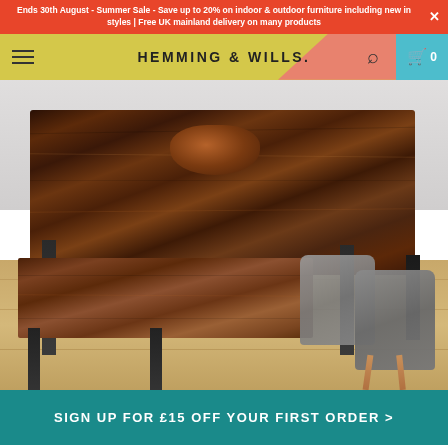Ends 30th August - Summer Sale - Save up to 20% on indoor & outdoor furniture including new in styles | Free UK mainland delivery on many products
HEMMING & WILLS.
[Figure (photo): A rustic solid wood dining table with black metal U-shaped legs, accompanied by a matching wooden bench and two grey modern chairs on a light wood floor]
SIGN UP FOR £15 OFF YOUR FIRST ORDER >